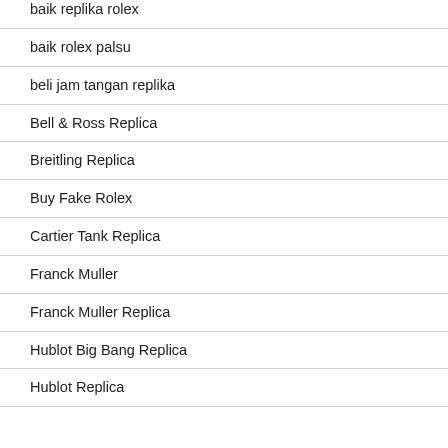baik replika rolex
baik rolex palsu
beli jam tangan replika
Bell & Ross Replica
Breitling Replica
Buy Fake Rolex
Cartier Tank Replica
Franck Muller
Franck Muller Replica
Hublot Big Bang Replica
Hublot Replica